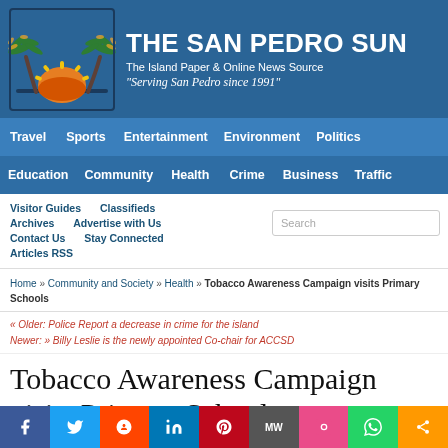[Figure (logo): The San Pedro Sun newspaper logo with palm trees and sunset graphic]
THE SAN PEDRO SUN
The Island Paper & Online News Source
"Serving San Pedro since 1991"
Travel | Sports | Entertainment | Environment | Politics
Education | Community | Health | Crime | Business | Traffic
Visitor Guides | Classifieds | Archives | Advertise with Us | Contact Us | Stay Connected | Articles RSS
Home » Community and Society » Health » Tobacco Awareness Campaign visits Primary Schools
« Older: Police Report a decrease in crime for the island
Newer: » Billy Leslie is the newly appointed Co-chair for ACCSD
Tobacco Awareness Campaign visits Primary Schools